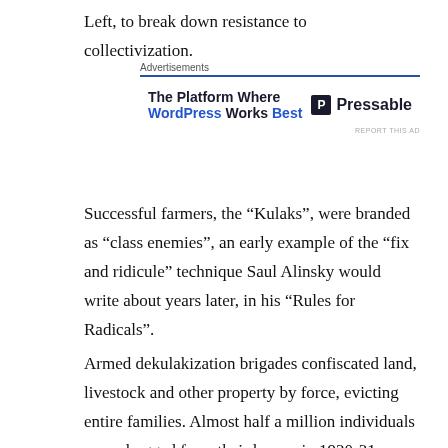Left, to break down resistance to collectivization.
[Figure (other): Advertisement for Pressable WordPress hosting. Header reads 'Advertisements' with blue border line. Ad text: 'The Platform Where WordPress Works Best' with Pressable logo on the right.]
Successful farmers, the “Kulaks”, were branded as “class enemies”, an early example of the “fix and ridicule” technique Saul Alinsky would write about years later, in his “Rules for Radicals”.
Armed dekulakization brigades confiscated land, livestock and other property by force, evicting entire families. Almost half a million individuals were dragged from their homes in 1930-31, packed into freight trains and shipped off to remote areas like Siberia, where they were often left without food or shelter. Many of these, especially children, died in transit or